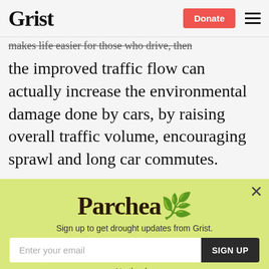Grist | Donate
makes life easier for those who drive, then the improved traffic flow can actually increase the environmental damage done by cars, by raising overall traffic volume, encouraging sprawl and long car commutes.
Not so, as I wrote in “Paradox, schmaradox. Congestion pricing works”:
[Figure (other): Modal popup with yellow-green background. Shows 'Parchea' logo text, subtitle 'Sign up to get drought updates from Grist.', an email input field, a SIGN UP button, a close X button, and a 'No thanks' link.]